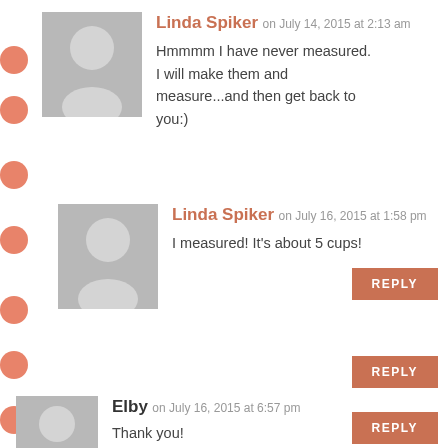Linda Spiker on July 14, 2015 at 2:13 am
Hmmmm I have never measured. I will make them and measure...and then get back to you:)
REPLY
Linda Spiker on July 16, 2015 at 1:58 pm
I measured! It's about 5 cups!
REPLY
Elby on July 16, 2015 at 6:57 pm
Thank you!
REPLY